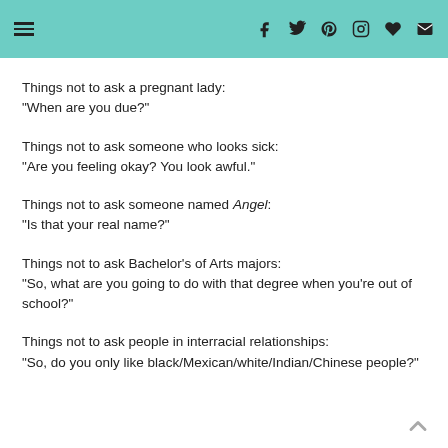Navigation and social icons header
Things not to ask a pregnant lady:
"When are you due?"
Things not to ask someone who looks sick:
"Are you feeling okay? You look awful."
Things not to ask someone named Angel:
"Is that your real name?"
Things not to ask Bachelor's of Arts majors:
"So, what are you going to do with that degree when you're out of school?"
Things not to ask people in interracial relationships:
"So, do you only like black/Mexican/white/Indian/Chinese people?"